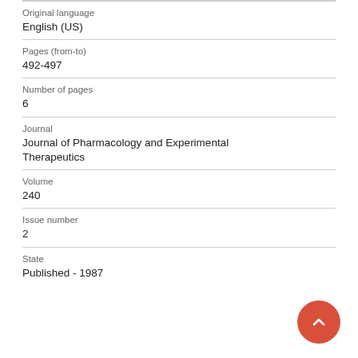Original language
English (US)
Pages (from-to)
492-497
Number of pages
6
Journal
Journal of Pharmacology and Experimental Therapeutics
Volume
240
Issue number
2
State
Published - 1987